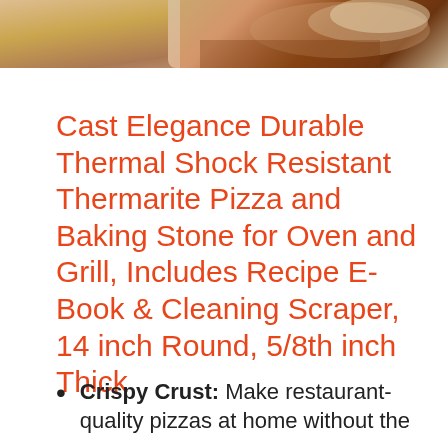[Figure (photo): Partial photo of a pizza stone with food, cropped at top of page]
Cast Elegance Durable Thermal Shock Resistant Thermarite Pizza and Baking Stone for Oven and Grill, Includes Recipe E-Book & Cleaning Scraper, 14 inch Round, 5/8th inch Thick
Crispy Crust: Make restaurant-quality pizzas at home without the